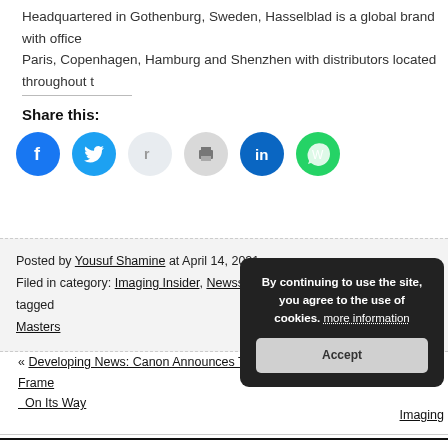Headquartered in Gothenburg, Sweden, Hasselblad is a global brand with offices in Paris, Copenhagen, Hamburg and Shenzhen with distributors located throughout th
Share this:
[Figure (infographic): Social sharing icons: Facebook (blue), Twitter (blue), Reddit (light gray), Print (gray), LinkedIn (blue), WhatsApp (green)]
Posted by Yousuf Shamine at April 14, 2021
Filed in category: Imaging Insider, Newsstream, Press Releases, and tagged Masters
« Developing News: Canon Announces That The Powerful Professional Full-Frame On Its Way
Imaging
[Figure (other): Cookie consent popup: 'By continuing to use the site, you agree to the use of cookies. more information' with Accept button]
Imaging Insider. Theme design by Themesanyar. Powered by WordPress. Copyright © 2022 All Rights Res